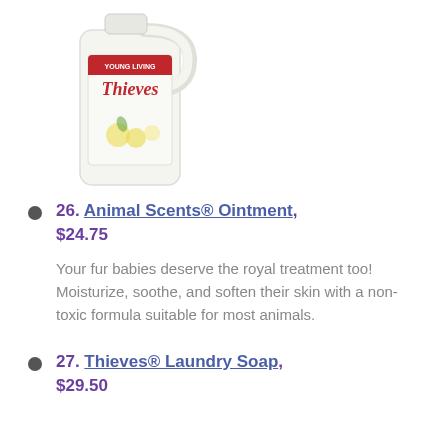[Figure (photo): Thieves laundry soap white jug with handle and yellow lemon graphics]
26. Animal Scents® Ointment, $24.75
Your fur babies deserve the royal treatment too! Moisturize, soothe, and soften their skin with a non-toxic formula suitable for most animals.
27. Thieves® Laundry Soap, $29.50